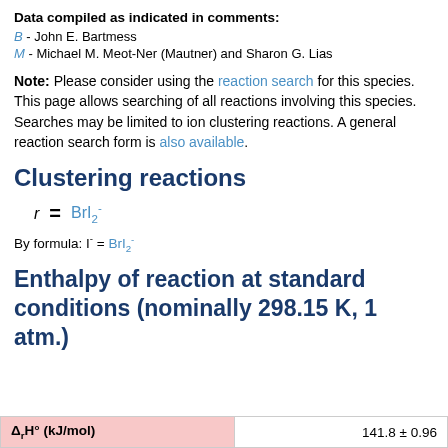Data compiled as indicated in comments:
B - John E. Bartmess
M - Michael M. Meot-Ner (Mautner) and Sharon G. Lias
Note: Please consider using the reaction search for this species. This page allows searching of all reactions involving this species. Searches may be limited to ion clustering reactions. A general reaction search form is also available.
Clustering reactions
By formula: I⁻ = BrI₂⁻
Enthalpy of reaction at standard conditions (nominally 298.15 K, 1 atm.)
| Δ_rH° (kJ/mol) |  |
| --- | --- |
|  | 141.8 ± 0.96 |